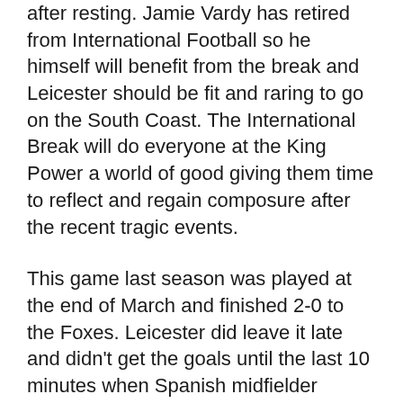after resting. Jamie Vardy has retired from International Football so he himself will benefit from the break and Leicester should be fit and raring to go on the South Coast. The International Break will do everyone at the King Power a world of good giving them time to reflect and regain composure after the recent tragic events.
This game last season was played at the end of March and finished 2-0 to the Foxes. Leicester did leave it late and didn't get the goals until the last 10 minutes when Spanish midfielder Vicente Iborra scored the opener and Jamie Vardy got the 2nd in the 96th minute. What will have annoyed the Seagulls faithful and particularly Glenn Murray is that the usually reliable Murray missed a penalty